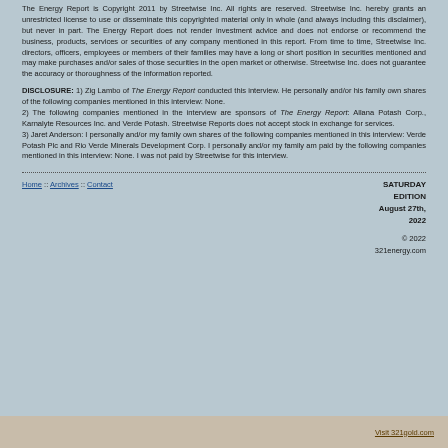The Energy Report is Copyright 2011 by Streetwise Inc. All rights are reserved. Streetwise Inc. hereby grants an unrestricted license to use or disseminate this copyrighted material only in whole (and always including this disclaimer), but never in part. The Energy Report does not render investment advice and does not endorse or recommend the business, products, services or securities of any company mentioned in this report. From time to time, Streetwise Inc. directors, officers, employees or members of their families may have a long or short position in securities mentioned and may make purchases and/or sales of those securities in the open market or otherwise. Streetwise Inc. does not guarantee the accuracy or thoroughness of the information reported.
DISCLOSURE: 1) Zig Lambo of The Energy Report conducted this interview. He personally and/or his family own shares of the following companies mentioned in this interview: None. 2) The following companies mentioned in the interview are sponsors of The Energy Report: Allana Potash Corp., Karnalyte Resources Inc. and Verde Potash. Streetwise Reports does not accept stock in exchange for services. 3) Jaret Anderson: I personally and/or my family own shares of the following companies mentioned in this interview: Verde Potash Plc and Rio Verde Minerals Development Corp. I personally and/or my family am paid by the following companies mentioned in this interview: None. I was not paid by Streetwise for this interview.
Home :: Archives :: Contact    SATURDAY EDITION August 27th, 2022    © 2022 321energy.com
Visit 321gold.com